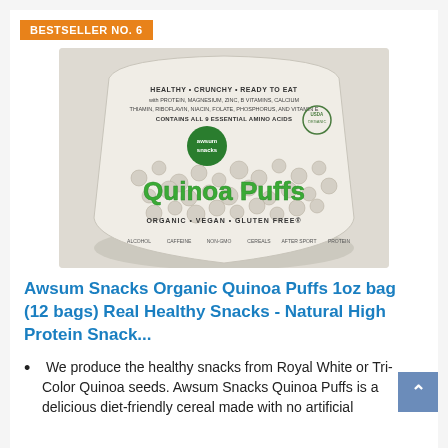BESTSELLER NO. 6
[Figure (photo): Product photo of Awsum Snacks Organic Quinoa Puffs bag, showing quinoa puffs spilling out. Text on bag: HEALTHY · CRUNCHY · READY TO EAT, CONTAINS ALL 9 ESSENTIAL AMINO ACIDS, Quinoa Puffs, ORGANIC · VEGAN · GLUTEN FREE]
Awsum Snacks Organic Quinoa Puffs 1oz bag (12 bags) Real Healthy Snacks - Natural High Protein Snack...
We produce the healthy snacks from Royal White or Tri-Color Quinoa seeds. Awsum Snacks Quinoa Puffs is a delicious diet-friendly cereal made with no artificial